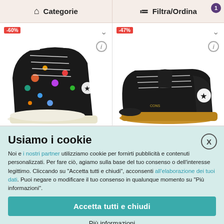Categorie | Filtra/Ordina
[Figure (screenshot): Two product cards showing Converse sneakers. Left card shows a colorful floral high-top sneaker with -60% discount tag. Right card shows a black low-top suede sneaker with -47% discount tag.]
Usiamo i cookie
Noi e i nostri partner utilizziamo cookie per fornirti pubblicità e contenuti personalizzati. Per fare ciò, agiamo sulla base del tuo consenso o dell'interesse legittimo. Cliccando su "Accetta tutti e chiudi", acconsenti all'elaborazione dei tuoi dati. Puoi negare o modificare il tuo consenso in qualunque momento su "Più informazioni".
Accetta tutti e chiudi
Più informazioni